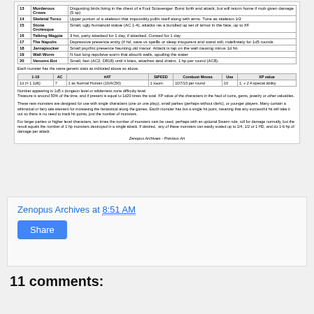| # | Name | Description |
| --- | --- | --- |
| 13 | Murderous Crows | Disgusting birds living in the chest of a Foul Scavenger. Burst forth and attack, but will return home if mob given damage (5 sp) |
| 14 | Skeletal Torso | Upper portion of a skeleton that impossibly pulls itself along with arms. Tune as skeleton 1/2 |
| 15 | Stone Grotesque | Small, ugly humanoid statue (AC 1-4), attacks as a bundled up set of armor in the face, up to XF |
| 16 | Talking Magpie | 3 hst, party attacked for 1 day, if attacked, Cursed for 1 day |
| 17 | The Napolis | Depressive presence entity (if hd, save vs spells or sleep intoporent and stand still, indefinitely for 1d5 rounds |
| 18 | Jarnajnocker | Small psychic presence haunting old manor. Attack is tap on the wall causing minus 1d hit. |
| 19 | Wall Worm | N foot long repulsive worm that absorb walls, spoiling the water |
| 20 | Venoms Bot | Small, fast (AC2, D818) until it bites, attaches and drains. 1 hp per round (AC8). |
Each monster has the same generic stats as indicated above as above.
| 1-10 | AC | #AT | SPEED | Combust Moves | Use | XP value |
| --- | --- | --- | --- | --- | --- | --- |
| 1d (= 1 1d6) | 7 | 1 as Normal Human (10/AC50) | 1 room | 1D7/10 per round | 10 | 1, + 2 A special ability |
Number appearing is 1d5 x dungeon level or wilderness zone difficulty level.
Treasure is around 50% of the time, and if present is equal to 1d20 times the total XP value of the characters in the haul of coins, gems, jewelry or other valuables.
These new monsters are designed for use with single characters (one on one play), small parties (perhaps without cleric), or younger players. Many contain a whimsical or fairy tale element for increasing the fantastical along the games. Each monster has but a single hit point, meaning that any successful hit will take it out so there is no need to track hit points, just the number of monsters.
For larger parties or higher level characters, ten times the number of monsters can be used, perhaps with an optional Swarm rule, roll for damage normally, but the result equals the number of 1 hp monsters destroyed in a single attack. If desired, any of these monsters can easily scaled up to 1/4, 1/2 or 1 HD, and do 1-6 hp of damage per attack.
Zenopus Archives - Previous Art
Zenopus Archives at 8:51 AM
Share
11 comments: